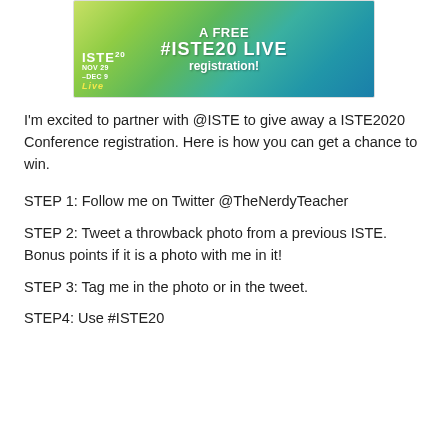[Figure (illustration): ISTE20 Live conference banner with green/teal gradient background. Text reads 'A FREE #ISTE20 LIVE registration!' with ISTE20 logo and NOV 29 - DEC 9 dates on lower left.]
I'm excited to partner with @ISTE to give away a ISTE2020 Conference registration. Here is how you can get a chance to win.
STEP 1: Follow me on Twitter @TheNerdyTeacher
STEP 2: Tweet a throwback photo from a previous ISTE. Bonus points if it is a photo with me in it!
STEP 3: Tag me in the photo or in the tweet.
STEP4: Use #ISTE20